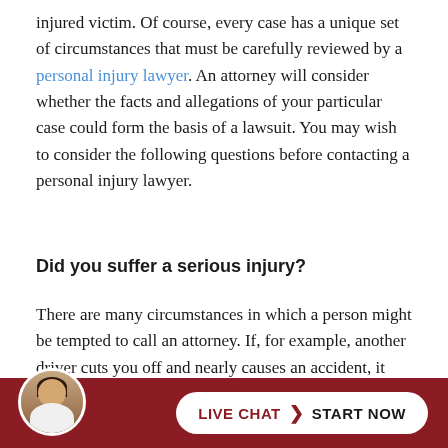injured victim. Of course, every case has a unique set of circumstances that must be carefully reviewed by a personal injury lawyer. An attorney will consider whether the facts and allegations of your particular case could form the basis of a lawsuit. You may wish to consider the following questions before contacting a personal injury lawyer.
Did you suffer a serious injury?
There are many circumstances in which a person might be tempted to call an attorney. If, for example, another driver cuts you off and nearly causes an accident, it can be tempting to take legal action. You might also want to file a lawsuit if you were embarrassed by slipping and falling in a retail store or other public place. However, a perso...ry...ined
[Figure (other): Live chat bar at bottom with a woman's headshot avatar on the left and a white pill-shaped button showing 'LIVE CHAT > START NOW' on a dark red background]